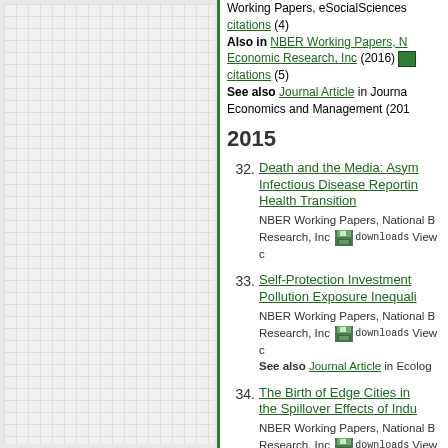Working Papers, eSocialSciences citations (4) Also in NBER Working Papers, N Economic Research, Inc (2016) citations (5) See also Journal Article in Journal Economics and Management (201
2015
32. Death and the Media: Asym Infectious Disease Reporting Health Transition NBER Working Papers, National B Research, Inc downloads View c
33. Self-Protection Investment Pollution Exposure Inequali NBER Working Papers, National B Research, Inc downloads View c See also Journal Article in Ecolog
34. The Birth of Edge Cities in the Spillover Effects of Indu NBER Working Papers, National B Research, Inc downloads View c
35. The Political Economy of S Investment in Pre-K Progra IZA Discussion Papers, Institute o downloads View citations (1)